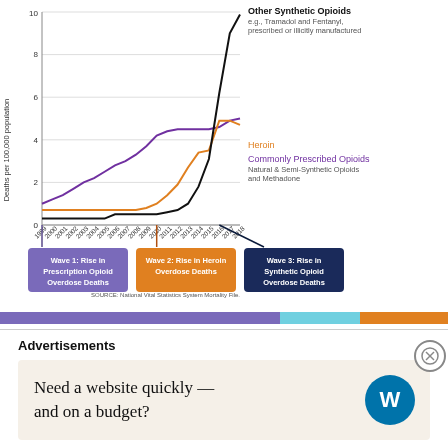[Figure (line-chart): Three Waves of the Rise in Opioid Overdose Deaths]
SOURCE: National Vital Statistics System Mortality File.
SOURCE:  cdc.gov
I know my mom meddled in a variety of different drugs, and I also knew her drug of
Advertisements
Need a website quickly — and on a budget?